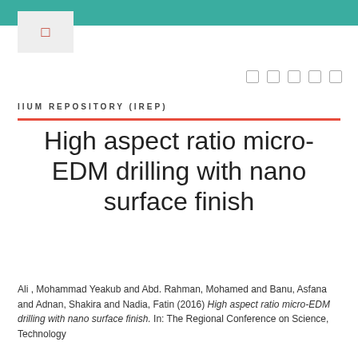IIUM REPOSITORY (IREP)
High aspect ratio micro-EDM drilling with nano surface finish
Ali , Mohammad Yeakub and Abd. Rahman, Mohamed and Banu, Asfana and Adnan, Shakira and Nadia, Fatin (2016) High aspect ratio micro-EDM drilling with nano surface finish. In: The Regional Conference on Science, Technology